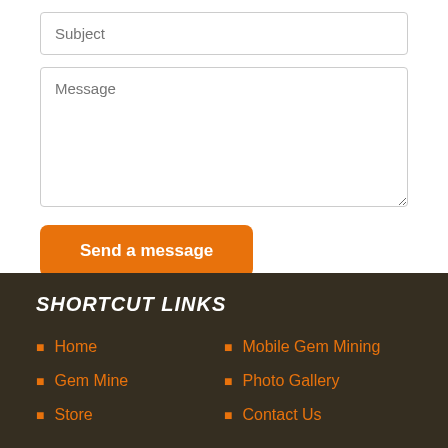Subject
Message
Send a message
SHORTCUT LINKS
Home
Gem Mine
Store
Mobile Gem Mining
Photo Gallery
Contact Us